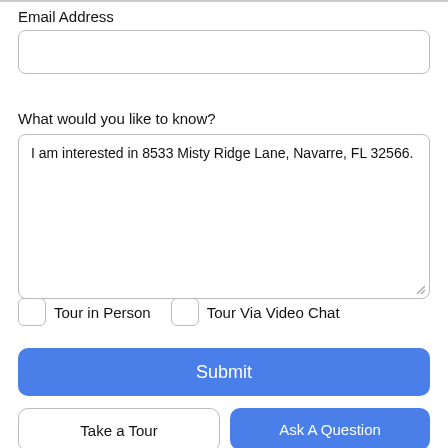Email Address
What would you like to know?
I am interested in 8533 Misty Ridge Lane, Navarre, FL 32566.
Tour in Person
Tour Via Video Chat
Submit
Take a Tour
Ask A Question